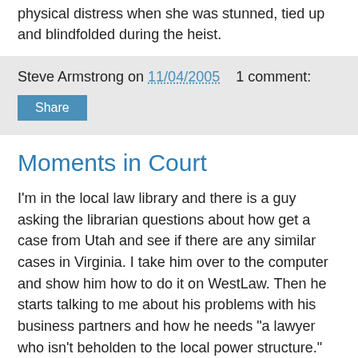physical distress when she was stunned, tied up and blindfolded during the heist.
Steve Armstrong on 11/04/2005    1 comment:
Share
Moments in Court
I'm in the local law library and there is a guy asking the librarian questions about how get a case from Utah and see if there are any similar cases in Virginia. I take him over to the computer and show him how to do it on WestLaw. Then he starts talking to me about his problems with his business partners and how he needs "a lawyer who isn't beholden to the local power structure." He looks at me and alarm bells start ringing. I beg off pleading absolute ignorance of any type of law outside the criminal field.
A couple days later I go to the circuit court and there's a civil